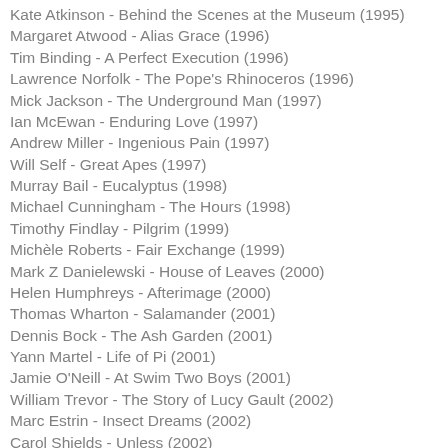Kate Atkinson - Behind the Scenes at the Museum (1995)
Margaret Atwood - Alias Grace (1996)
Tim Binding - A Perfect Execution (1996)
Lawrence Norfolk - The Pope's Rhinoceros (1996)
Mick Jackson - The Underground Man (1997)
Ian McEwan - Enduring Love (1997)
Andrew Miller - Ingenious Pain (1997)
Will Self - Great Apes (1997)
Murray Bail - Eucalyptus (1998)
Michael Cunningham - The Hours (1998)
Timothy Findlay - Pilgrim (1999)
Michèle Roberts - Fair Exchange (1999)
Mark Z Danielewski - House of Leaves (2000)
Helen Humphreys - Afterimage (2000)
Thomas Wharton - Salamander (2001)
Dennis Bock - The Ash Garden (2001)
Yann Martel - Life of Pi (2001)
Jamie O'Neill - At Swim Two Boys (2001)
William Trevor - The Story of Lucy Gault (2002)
Marc Estrin - Insect Dreams (2002)
Carol Shields - Unless (2002)
Mark Haddon - The Curious Incident of the Dog in the Night-time (2003)